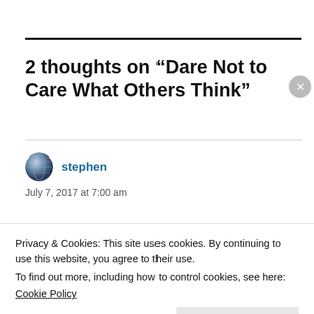2 thoughts on “Dare Not to Care What Others Think”
stephen
July 7, 2017 at 7:00 am
Thoughtful. I’ve never felt the need for
Privacy & Cookies: This site uses cookies. By continuing to use this website, you agree to their use.
To find out more, including how to control cookies, see here:
Cookie Policy
Close and accept